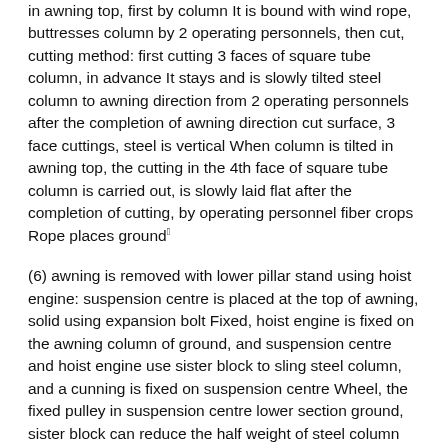in awning top, first by column It is bound with wind rope, buttresses column by 2 operating personnels, then cut, cutting method: first cutting 3 faces of square tube column, in advance It stays and is slowly tilted steel column to awning direction from 2 operating personnels after the completion of awning direction cut surface, 3 face cuttings, steel is vertical When column is tilted in awning top, the cutting in the 4th face of square tube column is carried out, is slowly laid flat after the completion of cutting, by operating personnel fiber crops Rope places ground.
(6) awning is removed with lower pillar stand using hoist engine: suspension centre is placed at the top of awning, solid using expansion bolt Fixed, hoist engine is fixed on the awning column of ground, and suspension centre and hoist engine use sister block to sling steel column, and a cunning is fixed on suspension centre Wheel, the fixed pulley in suspension centre lower section ground, sister block can reduce the half weight of steel column self weight, and lifting rope is pinioned at column and connecting rod Node Board position, prevent wirerope from slipping position, and fasten wind rope in lower part,